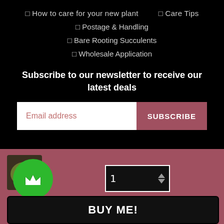☐ How to care for your new plant
☐ Care Tips
☐ Postage & Handling
☐ Bare Rooting Succulents
☐ Wholesale Application
Subscribe to our newsletter to receive our latest deals
Email address
SUBSCRIBE
[Figure (photo): Small succulent plant thumbnail image]
1
BUY ME!